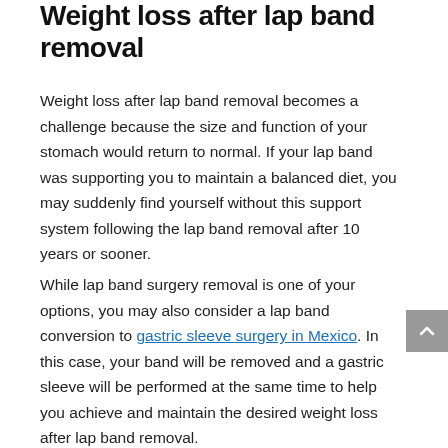Weight loss after lap band removal
Weight loss after lap band removal becomes a challenge because the size and function of your stomach would return to normal. If your lap band was supporting you to maintain a balanced diet, you may suddenly find yourself without this support system following the lap band removal after 10 years or sooner.
While lap band surgery removal is one of your options, you may also consider a lap band conversion to gastric sleeve surgery in Mexico. In this case, your band will be removed and a gastric sleeve will be performed at the same time to help you achieve and maintain the desired weight loss after lap band removal.